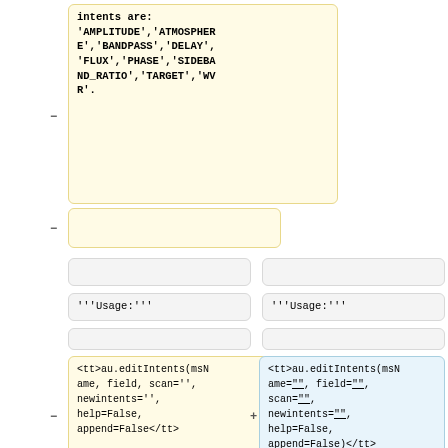intents are:
'AMPLITUDE','ATMOSPHERE','BANDPASS','DELAY','FLUX','PHASE','SIDEBAND_RATIO','TARGET','WVR'.
'''Usage:'''
'''Usage:'''
<tt>au.editIntents(msName, field, scan='', newintents='', help=False, append=False</tt>
<tt>au.editIntents(msName="", field="", scan="", newintents="", help=False, append=False)</tt>
* field (required): can be the
* field (required): can be the